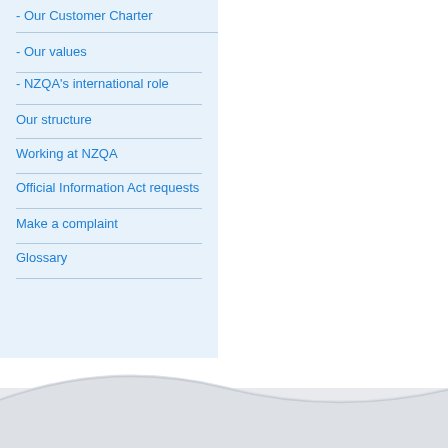- Our Customer Charter
- Our values
- NZQA's international role
Our structure
Working at NZQA
Official Information Act requests
Make a complaint
Glossary
[Figure (illustration): Decorative wave/curve shape at the bottom of the page in light grey]